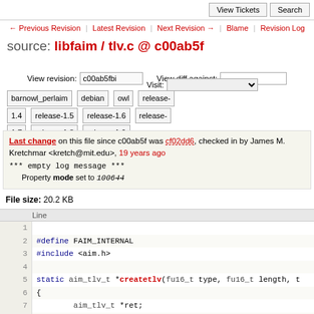View Tickets | Search
← Previous Revision | Latest Revision | Next Revision → | Blame | Revision Log
source: libfaim / tlv.c @ c00ab5f
View revision: c00ab5fbi   View diff against:
Visit:
barnowl_perlaim  debian  owl  release-1.4  release-1.5  release-1.6  release-1.7  release-1.8  release-1.9
Last change on this file since c00ab5f was cf02dd6, checked in by James M. Kretchmar <kretch@mit.edu>, 19 years ago
*** empty log message ***
Property mode set to 100644
File size: 20.2 KB
Line
1
2 #define FAIM_INTERNAL
3 #include <aim.h>
4
5 static aim_tlv_t *createtlv(fu16_t type, fu16_t length, t
6 {
7         aim_tlv_t *ret;
8
9         if (!(ret
 = (aim_tlv_t *)malloc(sizeof(aim_tlv_t))))
10                 return NULL;
11         ret->type = type;
12         ret->length = length;
13         ret->value = value;
14